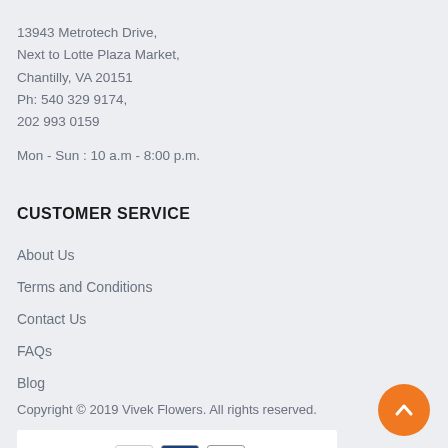13943 Metrotech Drive,
Next to Lotte Plaza Market,
Chantilly, VA 20151
Ph: 540 329 9174,
202 993 0159
Mon - Sun : 10 a.m - 8:00 p.m.
CUSTOMER SERVICE
About Us
Terms and Conditions
Contact Us
FAQs
Blog
Copyright © 2019 Vivek Flowers. All rights reserved.
[Figure (logo): PayPal logo with credit card icons including MasterCard, Visa, and Discover]